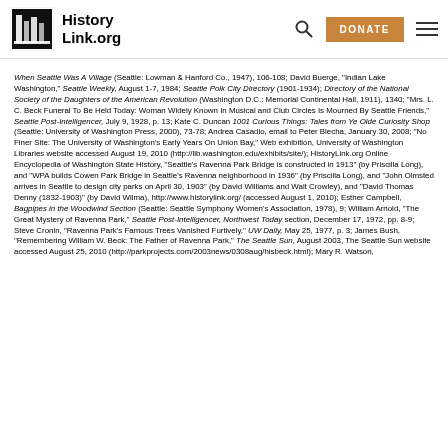HistoryLink.org
When Seattle Was A Village (Seattle: Lowman & Hanford Co., 1947), 106-108; David Buerge, "Indian Lake Washington," Seattle Weekly, August 1-7, 1984; Seattle Polk City Directory (1901-1934); Directory of the National Society of the Daughters of the American Revolution (Washington D.C.: Memorial Continental Hall, 1911), 1340; "Mrs. L. C. Beck Funeral To Be Held Today: Woman Widely Known In Musical and Club Circles Is Mourned By Seattle Friends," Seattle Post-Intelligencer, July 9, 1928, p. 13; Kate C. Duncan 1001 Curious Things: Tales from Ye Olde Curiosity Shop (Seattle: University of Washington Press, 2000), 73-78; Andrea Casadio, email to Peter Blecha, January 30, 2008; "No Finer Site: The University of Washington's Early Years On Union Bay," Web exhibition, University of Washington Libraries website accessed August 19, 2010 (http://lib.washington.edu/exhibits/site/); HistoryLink.org Online Encyclopedia of Washington State History, "Seattle's Ravenna Park Bridge is constructed in 1913" (by Priscilla Long), and "WPA builds Cowen Park Bridge in Seattle's Ravenna neighborhood in 1936" (by Priscilla Long), and "John Olmsted arrives in Seattle to design city parks on April 30, 1903" (by David Williams and Walt Crowley), and "David Thomas Denny (1832-1903)" (by David Wilma), http://www.historylink.org/ (accessed August 1, 2010); Esther Campbell, Bagpipes in the Woodwind Section (Seattle: Seattle Symphony Women's Association, 1978), 9; William Arnold, "The Great Mystery of Ravenna Park," Seattle Post-Intelligencer, Northwest Today section, December 17, 1972, pp. 8-9; Steve Cronin, "Ravenna Park's Famous Trees Vanished Furtively," UW Daily, May 25, 1977, p. 3; James Bush, "Remembering William W. Beck: The Father of Ravenna Park," The Seattle Sun, August 2003, The Seattle Sun website accessed August 25, 2010 (http://parkprojects.com/2003news/0308aug/hisbeck.html); Mary R. Watson,